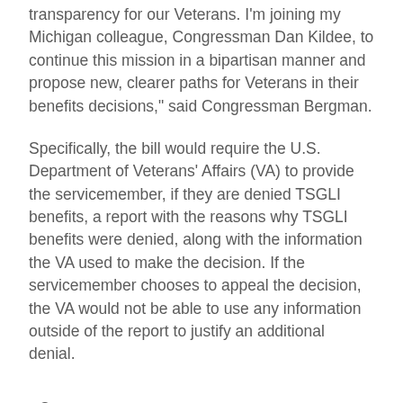transparency for our Veterans. I'm joining my Michigan colleague, Congressman Dan Kildee, to continue this mission in a bipartisan manner and propose new, clearer paths for Veterans in their benefits decisions," said Congressman Bergman.
Specifically, the bill would require the U.S. Department of Veterans' Affairs (VA) to provide the servicemember, if they are denied TSGLI benefits, a report with the reasons why TSGLI benefits were denied, along with the information the VA used to make the decision. If the servicemember chooses to appeal the decision, the VA would not be able to use any information outside of the report to justify an additional denial.
Source